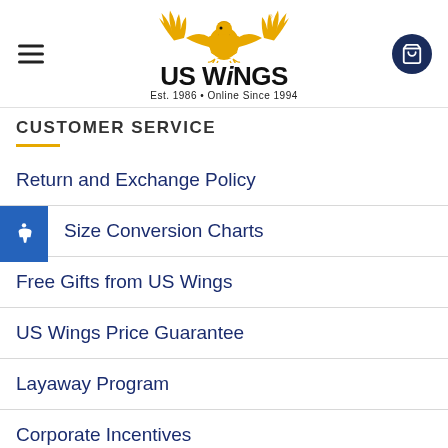[Figure (logo): US Wings logo with eagle, text 'US Wings', 'Est. 1986 · Online Since 1994', hamburger menu icon on left, shopping cart button on right]
CUSTOMER SERVICE
Return and Exchange Policy
Size Conversion Charts
Free Gifts from US Wings
US Wings Price Guarantee
Layaway Program
Corporate Incentives
Types of Leather